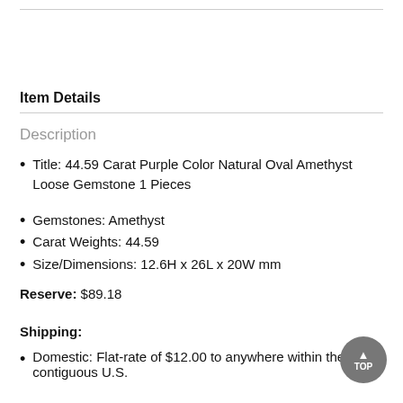Item Details
Description
Title: 44.59 Carat Purple Color Natural Oval Amethyst Loose Gemstone 1 Pieces
Gemstones: Amethyst
Carat Weights: 44.59
Size/Dimensions: 12.6H x 26L x 20W mm
Reserve: $89.18
Shipping:
Domestic: Flat-rate of $12.00 to anywhere within the contiguous U.S.